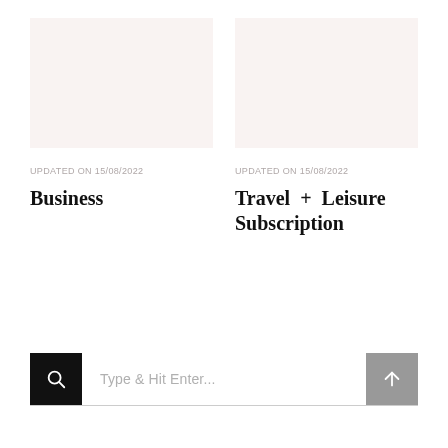[Figure (photo): Left card placeholder image with light pinkish-beige background]
UPDATED ON 15/08/2022
Business
[Figure (photo): Right card placeholder image with light pinkish-beige background]
UPDATED ON 15/08/2022
Travel + Leisure Subscription
Type & Hit Enter...